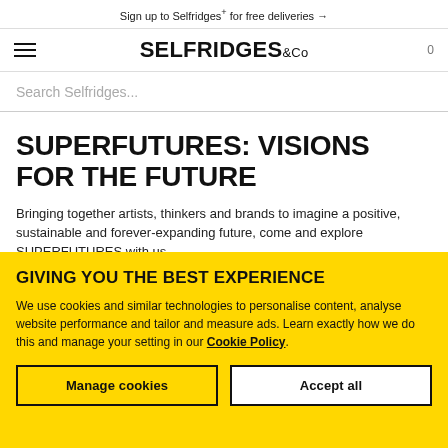Sign up to Selfridges+ for free deliveries →
[Figure (logo): Selfridges & Co logo with hamburger menu icon on left and cart count 0 on right]
Search Selfridges...
SUPERFUTURES: VISIONS FOR THE FUTURE
Bringing together artists, thinkers and brands to imagine a positive, sustainable and forever-expanding future, come and explore SUPERFUTURES with us
GIVING YOU THE BEST EXPERIENCE
We use cookies and similar technologies to personalise content, analyse website performance and tailor and measure ads. Learn exactly how we do this and manage your setting in our Cookie Policy.
Manage cookies
Accept all